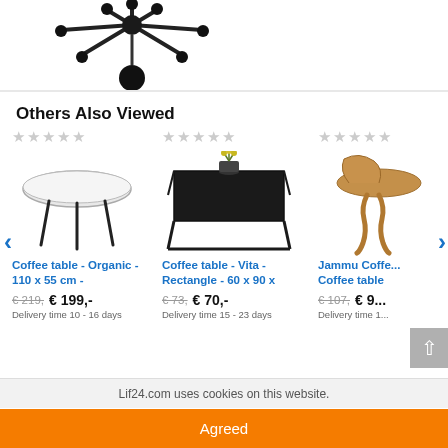[Figure (photo): Top portion of a black ceiling lamp/chandelier with round black balls, partially visible against white background]
Others Also Viewed
[Figure (photo): Round white coffee table with thin black metal legs]
Coffee table - Organic - 110 x 55 cm -
€ 219,  € 199,-
Delivery time 10 - 16 days
[Figure (photo): Rectangular black metal frame coffee table with a vase on top]
Coffee table - Vita - Rectangle - 60 x 90 x
€ 73,  € 70,-
Delivery time 15 - 23 days
[Figure (photo): Wooden stool / Jammu Coffee table, partially visible]
Jammu Coffee table
€ 107,  € 9...
Delivery time 1...
Lif24.com uses cookies on this website.
Agreed